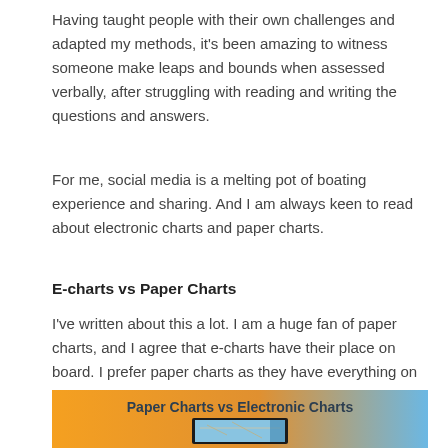Having taught people with their own challenges and adapted my methods, it's been amazing to witness someone make leaps and bounds when assessed verbally, after struggling with reading and writing the questions and answers.
For me, social media is a melting pot of boating experience and sharing. And I am always keen to read about electronic charts and paper charts.
E-charts vs Paper Charts
I've written about this a lot. I am a huge fan of paper charts, and I agree that e-charts have their place on board. I prefer paper charts as they have everything on them, e-charts do not.
[Figure (photo): Thumbnail image with orange and blue gradient background showing text 'Paper Charts vs Electronic Charts' and a nautical chart displayed on a screen below]